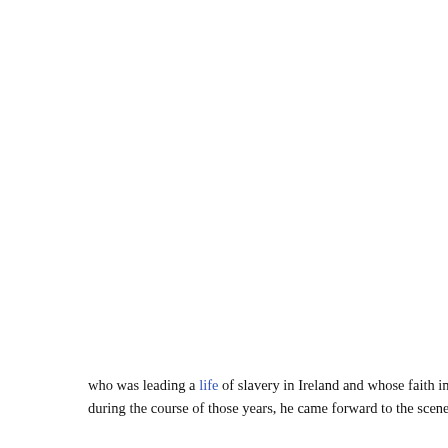was on fu... takes its r... Before the... the Greek... swing and... north Euro... influence.
who was leading a life of slavery in Ireland and whose faith in God Alm... during the course of those years, he came forward to the scene and w...
'I have been nurturing the fear and faith in God in me on and o... soul underwent a spiritual uplift to the extent that I could say hu... stretch in one day and the same deal was extended throughout... in woods, in mountain . . . at times at dead ends of nights befor... unfold . . I have been able to attain mystics of such a high prope... indifferent to snow or ice whatever in the atmosphere around w... communion with God. .'
[Figure (logo): Green circular logo, partially visible at bottom]